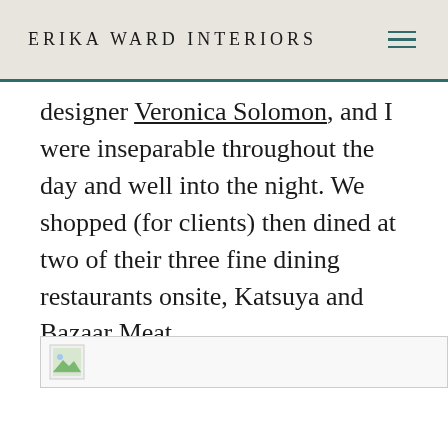ERIKA WARD INTERIORS
designer Veronica Solomon, and I were inseparable throughout the day and well into the night. We shopped (for clients) then dined at two of their three fine dining restaurants onsite, Katsuya and Bazaar Meat.
[Figure (photo): Broken image placeholder with landscape icon]